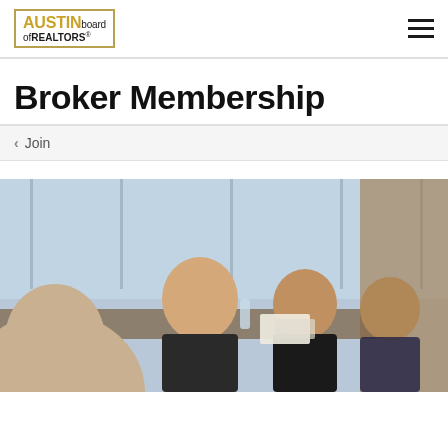AUSTIN board of REALTORS
Broker Membership
‹  Join
[Figure (photo): Business professionals in suits seated around a conference table, smiling and engaged in conversation, with large windows in the background.]